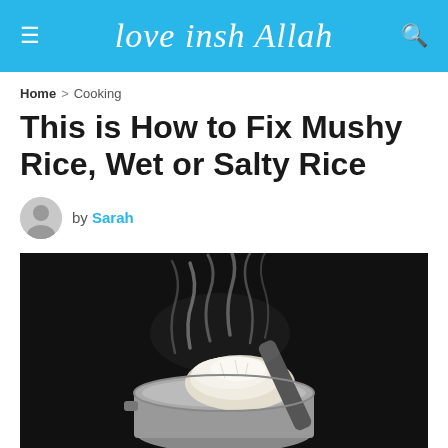love insh Allah
Home > Cooking
This is How to Fix Mushy Rice, Wet or Salty Rice
by Sarah
[Figure (photo): A spoonful of steaming white rice being lifted from a pot, with steam rising dramatically against a dark background.]